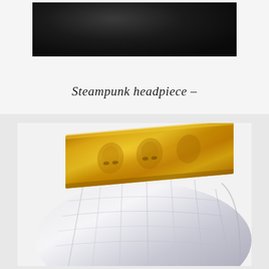[Figure (photo): Partial view of a dark/black steampunk headpiece or hat at the top of the page, cropped, showing dark textured material]
Steampunk headpiece –
[Figure (photo): Close-up photo of a golden ornate band/crown with embossed face or skull motifs, resting on a clear crystal glass head/mannequin display. The gold band has detailed relief work and the crystal base has ribbed/faceted texture.]